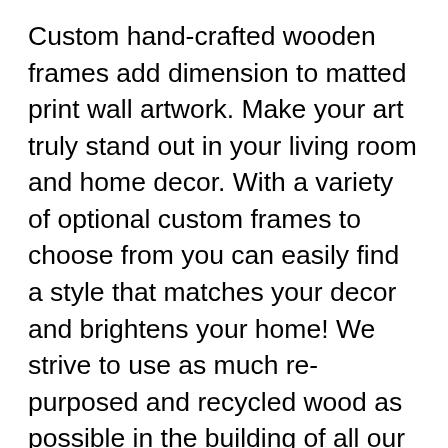Custom hand-crafted wooden frames add dimension to matted print wall artwork. Make your art truly stand out in your living room and home decor. With a variety of optional custom frames to choose from you can easily find a style that matches your decor and brightens your home! We strive to use as much re-purposed and recycled wood as possible in the building of all our framed prints.
About the Artist
Artist Heather Brown has gained a worldwide reputation for her unique abstract